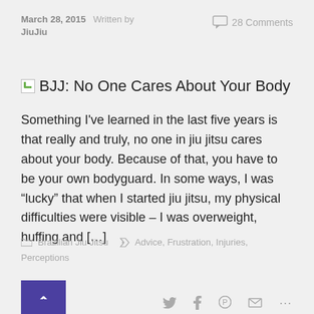March 28, 2015  Written by  JiuJiu  28 Comments
BJJ: No One Cares About Your Body
Something I've learned in the last five years is that really and truly, no one in jiu jitsu cares about your body. Because of that, you have to be your own bodyguard. In some ways, I was “lucky” that when I started jiu jitsu, my physical difficulties were visible – I was overweight, huffing and [...]
Brazilian Jiu Jitsu   Advice, Frustration, Injuries, Perceptions